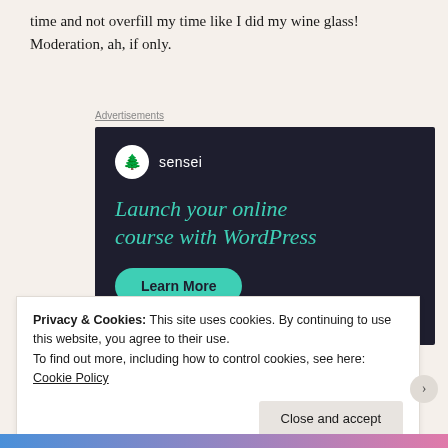time and not overfill my time like I did my wine glass! Moderation, ah, if only.
Advertisements
[Figure (infographic): Sensei advertisement: dark navy background with Sensei logo (tree icon in white circle), teal headline 'Launch your online course with WordPress', and a teal rounded 'Learn More' button.]
Privacy & Cookies: This site uses cookies. By continuing to use this website, you agree to their use.
To find out more, including how to control cookies, see here: Cookie Policy
Close and accept